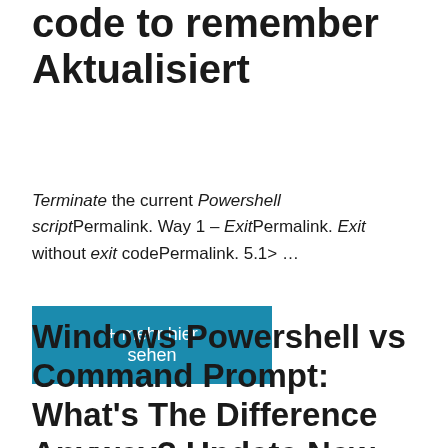code to remember Aktualisiert
Terminate the current Powershell scriptPermalink. Way 1 – ExitPermalink. Exit without exit codePermalink. 5.1> …
+ mehr hier sehen
Windows Powershell vs Command Prompt: What's The Difference Anyway? Update New